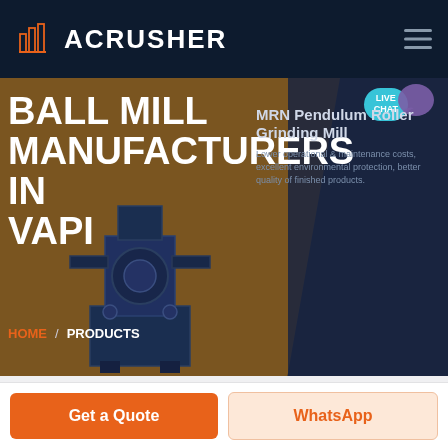ACRUSHER
BALL MILL MANUFACTURERS IN VAPI
MRN Pendulum Roller Grinding Mill
Lower operational & maintenance costs, excellent environmental protection, better quality of finished products.
HOME / PRODUCTS
[Figure (screenshot): Industrial ball mill / grinding machine illustration in dark navy blue color]
Get a Quote
WhatsApp